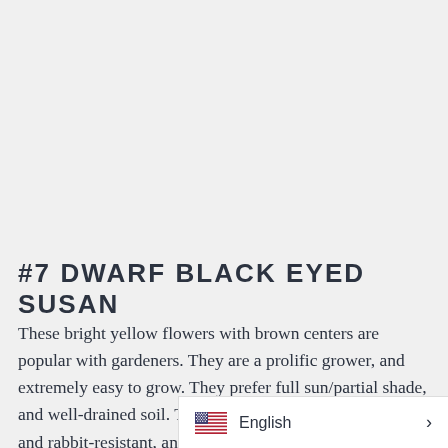#7 DWARF BLACK EYED SUSAN
These bright yellow flowers with brown centers are popular with gardeners. They are a prolific grower, and extremely easy to grow. They prefer full sun/partial shade, and well-drained soil. They are drought-, disease, deer-, and rabbit-resistant, and are a great low-maintenance plant. They are wonderful in cut flo
English